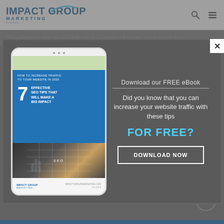[Figure (logo): Impact Group Marketing logo with arc graphic]
Envelopes are available in a variety of sizes including but
[Figure (screenshot): Modal popup showing a tablet with an eBook cover titled '7 Effective SEO Tips That Will Make a Big Impact - How to Increase Traffic to Your Website in 2020' by Impact Group Marketing. Right side shows download call-to-action with text 'Download our FREE eBook', 'Did you know that you can increase your website traffic with these tips', 'FOR FREE?', and a 'DOWNLOAD NOW' button.]